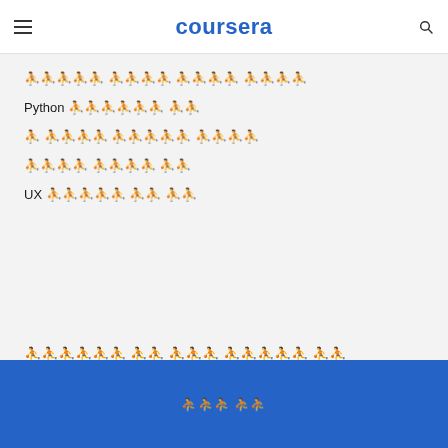coursera
🀱🀲🀳🀴🀵 🀶🀷🀸🀹 🀺🀻🀼🀽 🀾🀿🁀🁁
Python 🀱🀲🀳🀴🀵🀶 🀷🀸
🀱 🀲🀳🀴🀵 🀶🀷🀸🀹🀺 🀻🀼🀽🀾
🀱🀲🀳 🀴🀵🀶🀷 🀸🀹
UX 🀱🀲🀳🀴🀵 🀶🀷 🀸🀹
전문성을 높여 커리어 목표를 달성하세요
MasterTrack® 수료증
무료 등록